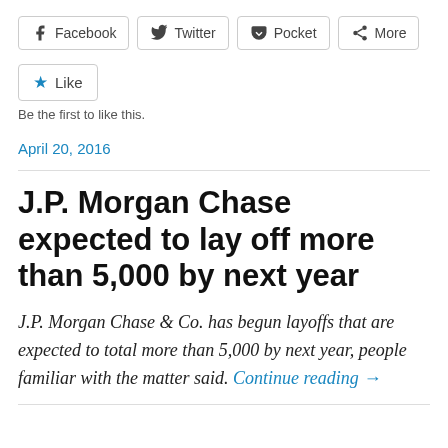[Figure (other): Social share buttons: Facebook, Twitter, Pocket, More]
[Figure (other): Like button with star icon]
Be the first to like this.
April 20, 2016
J.P. Morgan Chase expected to lay off more than 5,000 by next year
J.P. Morgan Chase & Co. has begun layoffs that are expected to total more than 5,000 by next year, people familiar with the matter said. Continue reading →